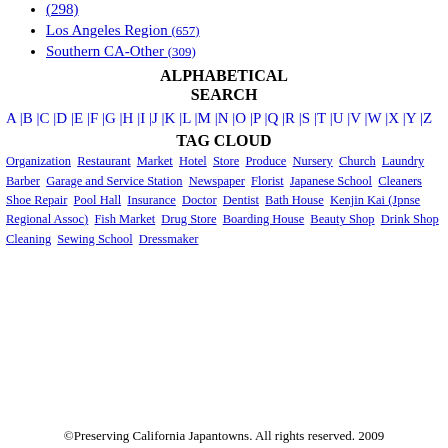(298)
Los Angeles Region (657)
Southern CA-Other (309)
ALPHABETICAL SEARCH
A | B | C | D | E | F | G | H | I | J | K | L | M | N | O | P | Q | R | S | T | U | V | W | X | Y | Z
TAG CLOUD
Organization  Restaurant  Market  Hotel  Store  Produce  Nursery  Church  Laundry  Barber  Garage and Service Station  Newspaper  Florist  Japanese School  Cleaners  Shoe Repair  Pool Hall  Insurance  Doctor  Dentist  Bath House  Kenjin Kai (Jpnse Regional Assoc)  Fish Market  Drug Store  Boarding House  Beauty Shop  Drink Shop  Cleaning  Sewing School  Dressmaker
©Preserving California Japantowns. All rights reserved. 2009